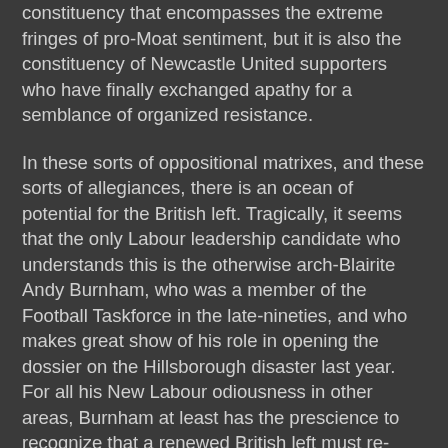constituency that encompasses the extreme fringes of pro-Moat sentiment, but it is also the constituency of Newcastle United supporters who have finally exchanged apathy for a semblance of organized resistance.
In these sorts of oppositional matrixes, and these sorts of allegiances, there is an ocean of potential for the British left. Tragically, it seems that the only Labour leadership candidate who understands this is the otherwise arch-Blairite Andy Burnham, who was a member of the Football Taskforce in the late-nineties, and who makes great show of his role in opening the dossier on the Hillsborough disaster last year. For all his New Labour odiousness in other areas, Burnham at least has the prescience to recognize that a renewed British left must re-engage with its grassroots on the sort of “folk” territories of which football is by far the most prominent and pithy example. The Moat narrative underlines just how vital it is that the sort of folk heroism so disdained by Tatlock and Cameron, should not become the province of the far-right, that it should be re-channeled and re-directed to become a major bastion of its historical home, the Labour Party. Unfortunately, this a truth that will probably always